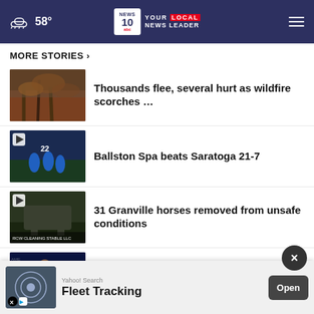☁ 58° | NEWS 10 ABC YOUR LOCAL NEWS LEADER
MORE STORIES ›
[Figure (photo): Wildfire scene with smoke and flames among trees]
Thousands flee, several hurt as wildfire scorches ...
[Figure (photo): Football players on field — Ballston Spa vs Saratoga, video thumbnail]
Ballston Spa beats Saratoga 21-7
[Figure (photo): Granville horses video thumbnail]
31 Granville horses removed from unsafe conditions
[Figure (photo): Serena Williams on court]
Serena Williams loses to Tomljanovic in US Open farewell
[Figure (photo): Man wanted out of Troy arrested in — video thumbnail with ARREST label]
Man wanted out of Troy arrested in
[Figure (other): Advertisement banner: Yahoo! Search — Fleet Tracking, Open button]